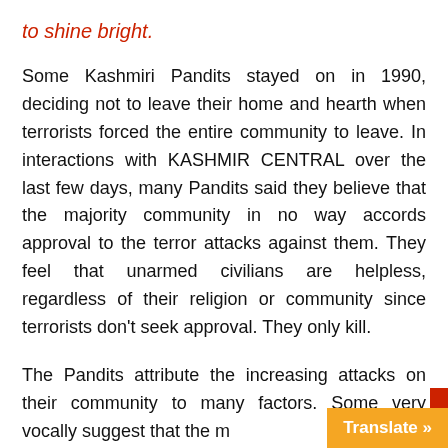to shine bright.
Some Kashmiri Pandits stayed on in 1990, deciding not to leave their home and hearth when terrorists forced the entire community to leave. In interactions with KASHMIR CENTRAL over the last few days, many Pandits said they believe that the majority community in no way accords approval to the terror attacks against them. They feel that unarmed civilians are helpless, regardless of their religion or community since terrorists don't seek approval. They only kill.
The Pandits attribute the increasing attacks on their community to many factors. Some very vocally suggest that the m...